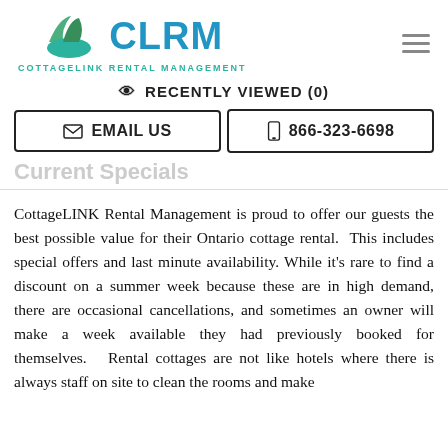[Figure (logo): CLRM CottageLink Rental Management logo with house/leaf icon in green and teal, CLRM text in blue, tagline in teal]
RECENTLY VIEWED (0)
EMAIL US
866-323-6698
Current Specials
CottageLINK Rental Management is proud to offer our guests the best possible value for their Ontario cottage rental.  This includes special offers and last minute availability. While it's rare to find a discount on a summer week because these are in high demand, there are occasional cancellations, and sometimes an owner will make a week available they had previously booked for themselves.   Rental cottages are not like hotels where there is always staff on site to clean the rooms and make